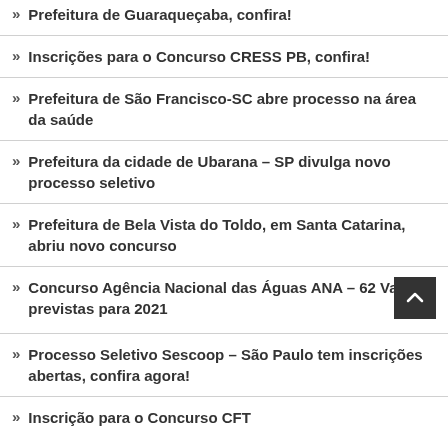Prefeitura de Guaraqueçaba, confira!
Inscrições para o Concurso CRESS PB, confira!
Prefeitura de São Francisco-SC abre processo na área da saúde
Prefeitura da cidade de Ubarana – SP divulga novo processo seletivo
Prefeitura de Bela Vista do Toldo, em Santa Catarina, abriu novo concurso
Concurso Agência Nacional das Águas ANA – 62 Vagas previstas para 2021
Processo Seletivo Sescoop – São Paulo tem inscrições abertas, confira agora!
Inscrição para o Concurso CFT